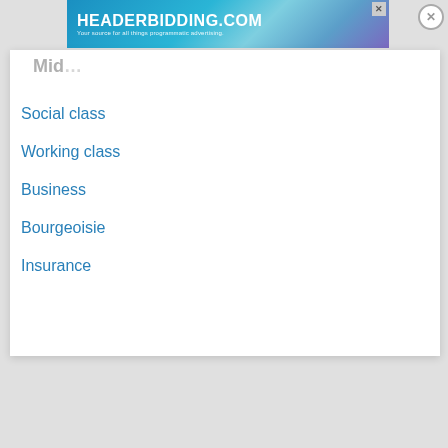[Figure (screenshot): Advertisement banner for HEADERBIDDING.COM with tagline 'Your source for all things programmatic advertising.' on a blue/teal gradient background with geometric shapes. Has an X close button in the top right corner.]
Social class
Working class
Business
Bourgeoisie
Insurance